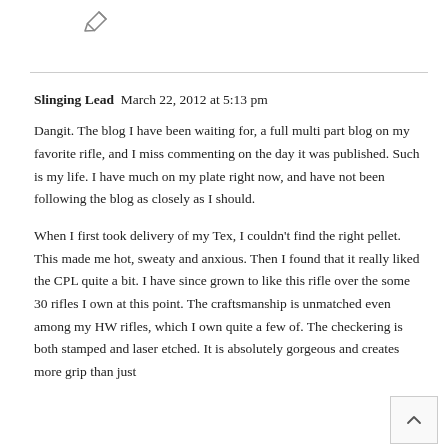[Figure (illustration): Pencil/edit icon at top of page]
Slinging Lead  March 22, 2012 at 5:13 pm
Dangit. The blog I have been waiting for, a full multi part blog on my favorite rifle, and I miss commenting on the day it was published. Such is my life. I have much on my plate right now, and have not been following the blog as closely as I should.
When I first took delivery of my Tex, I couldn't find the right pellet. This made me hot, sweaty and anxious. Then I found that it really liked the CPL quite a bit. I have since grown to like this rifle over the some 30 rifles I own at this point. The craftsmanship is unmatched even among my HW rifles, which I own quite a few of. The checkering is both stamped and laser etched. It is absolutely gorgeous and creates more grip than just